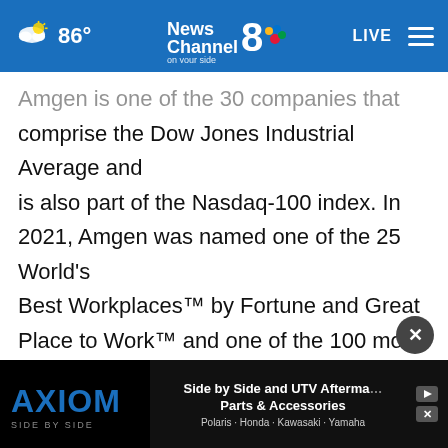86° News Channel 8 on your side | LIVE
Amgen is one of the 30 companies that comprise the Dow Jones Industrial Average and is also part of the Nasdaq-100 index. In 2021, Amgen was named one of the 25 World's Best Workplaces™ by Fortune and Great Place to Work™ and one of the 100 most sustainable companies in the world by Barron's.

For more information, visit www.amgen.com and follow us on w...
[Figure (screenshot): Advertisement banner for Axiom Side by Side UTV Aftermarket Parts & Accessories. Polaris, Honda, Kawasaki, Yamaha.]